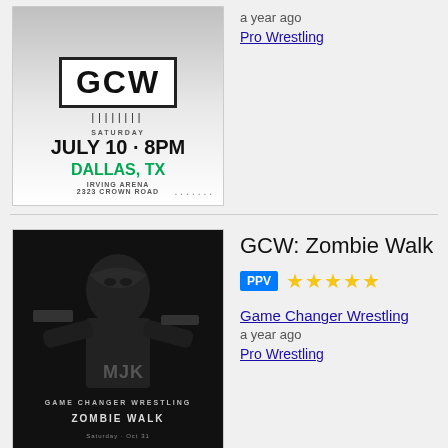[Figure (photo): GCW event poster showing wrestlers with GCW logo, July 10 8PM, Dallas TX, Irving Arena]
a year ago
Pro Wrestling
[Figure (photo): GCW: Zombie Walk event poster in black and white showing a wrestler, Game Changer Wrestling Zombie Walk text]
GCW: Zombie Walk
PPV ★★★★★
Game Changer Wrestling
a year ago
Pro Wrestling